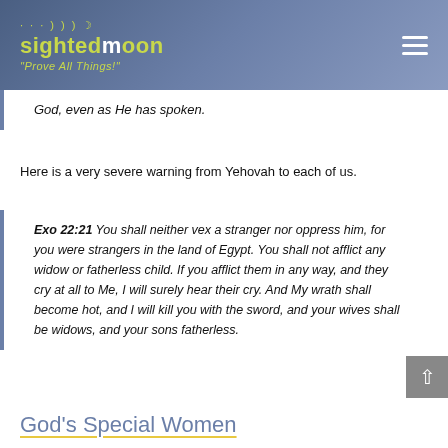sightedmoon "Prove All Things!"
God, even as He has spoken.
Here is a very severe warning from Yehovah to each of us.
Exo 22:21  You shall neither vex a stranger nor oppress him, for you were strangers in the land of Egypt. You shall not afflict any widow or fatherless child. If you afflict them in any way, and they cry at all to Me, I will surely hear their cry. And My wrath shall become hot, and I will kill you with the sword, and your wives shall be widows, and your sons fatherless.
God's Special Women